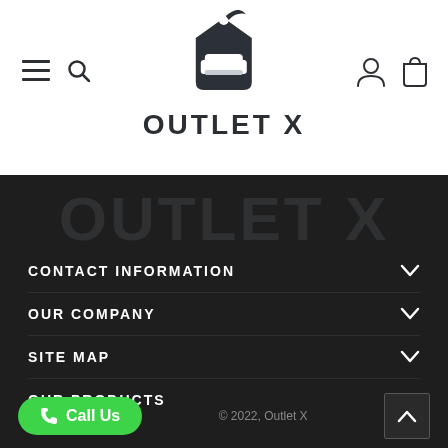[Figure (logo): Outlet X logo: a price tag / house shape with a sofa icon and a leaf, dark charcoal color, with brand name OUTLET X below it]
OUTLET X
OUTLET X (watermark background text)
CONTACT INFORMATION
OUR COMPANY
SITE MAP
OUR PRODUCTS
Call Us
© 2022, Outlet X